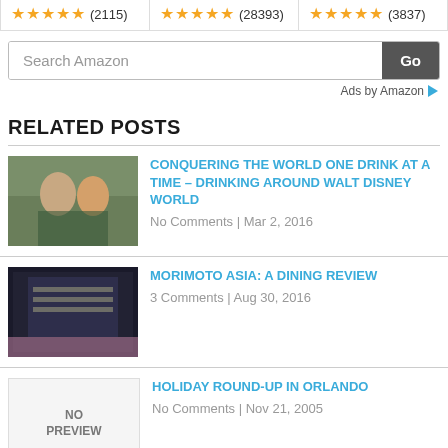[Figure (other): Rating row with three cells showing star ratings: (2115), (28393), (3837)]
[Figure (screenshot): Amazon search bar with 'Search Amazon' placeholder text and 'Go' button]
Ads by Amazon
RELATED POSTS
[Figure (photo): Two women posing with drinks]
CONQUERING THE WORLD ONE DRINK AT A TIME – DRINKING AROUND WALT DISNEY WORLD
No Comments | Mar 2, 2016
[Figure (photo): Interior of Morimoto Asia restaurant]
MORIMOTO ASIA: A DINING REVIEW
3 Comments | Aug 30, 2016
[Figure (other): No Preview placeholder box]
HOLIDAY ROUND-UP IN ORLANDO
No Comments | Nov 21, 2005
[Figure (photo): Partial photo - Disney related image]
DISNEY VACATIONS DURING PEAK SEASON – YOU